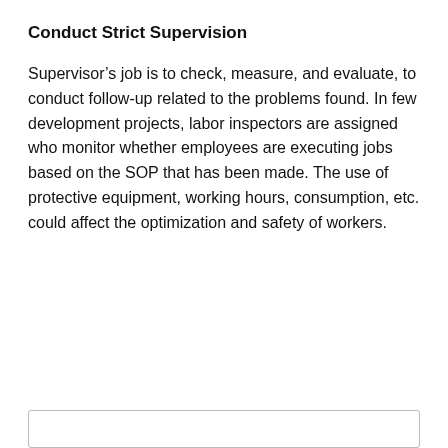Conduct Strict Supervision
Supervisor’s job is to check, measure, and evaluate, to conduct follow-up related to the problems found. In few development projects, labor inspectors are assigned who monitor whether employees are executing jobs based on the SOP that has been made. The use of protective equipment, working hours, consumption, etc. could affect the optimization and safety of workers.